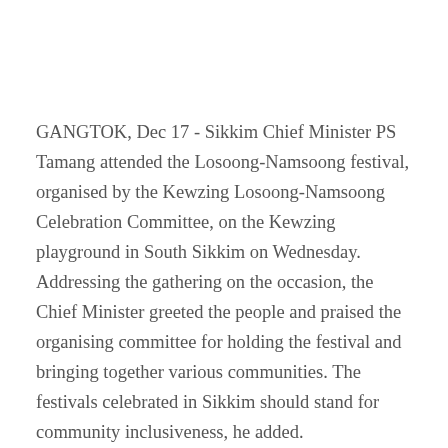GANGTOK, Dec 17 - Sikkim Chief Minister PS Tamang attended the Losoong-Namsoong festival, organised by the Kewzing Losoong-Namsoong Celebration Committee, on the Kewzing playground in South Sikkim on Wednesday. Addressing the gathering on the occasion, the Chief Minister greeted the people and praised the organising committee for holding the festival and bringing together various communities. The festivals celebrated in Sikkim should stand for community inclusiveness, he added.